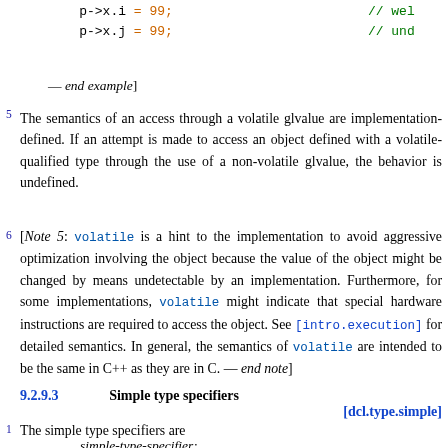p->x.i = 99;   // wel
p->x.j = 99;   // und
— end example]
5  The semantics of an access through a volatile glvalue are implementation-defined. If an attempt is made to access an object defined with a volatile-qualified type through the use of a non-volatile glvalue, the behavior is undefined.
6  [Note 5: volatile is a hint to the implementation to avoid aggressive optimization involving the object because the value of the object might be changed by means undetectable by an implementation. Furthermore, for some implementations, volatile might indicate that special hardware instructions are required to access the object. See [intro.execution] for detailed semantics. In general, the semantics of volatile are intended to be the same in C++ as they are in C. — end note]
9.2.9.3  Simple type specifiers [dcl.type.simple]
1  The simple type specifiers are
simple-type-specifier: